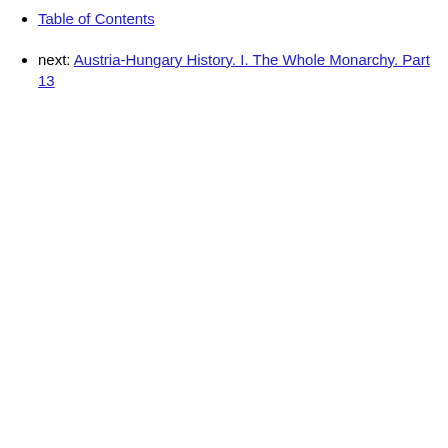Table of Contents
next: Austria-Hungary History. I. The Whole Monarchy. Part 13